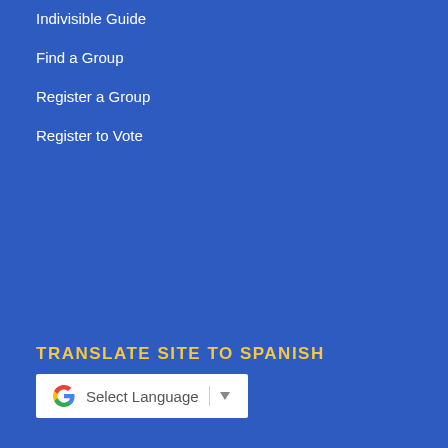Indivisible Guide
Find a Group
Register a Group
Register to Vote
TRANSLATE SITE TO SPANISH
[Figure (screenshot): Google Translate widget with 'Select Language' dropdown and arrow button]
SEARCH ORD2 WEBSITE
[Figure (screenshot): Search bar with text 'Search' placeholder and a blue search button with magnifying glass icon]